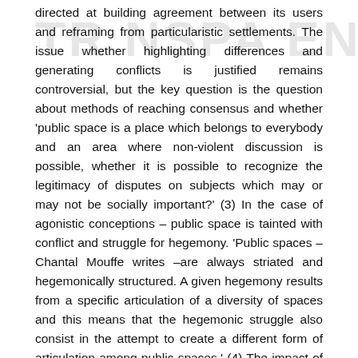[Figure (other): Watermark text reading 'TRANSPARENT' overlaid diagonally/large in light gray across the top portion of the page]
directed at building agreement between its users and reframing from particularistic settlements. The issue whether highlighting differences and generating conflicts is justified remains controversial, but the key question is the question about methods of reaching consensus and whether 'public space is a place which belongs to everybody and an area where non-violent discussion is possible, whether it is possible to recognize the legitimacy of disputes on subjects which may or may not be socially important?' (3) In the case of agonistic conceptions – public space is tainted with conflict and struggle for hegemony. 'Public spaces – Chantal Mouffe writes –are always striated and hegemonically structured. A given hegemony results from a specific articulation of a diversity of spaces and this means that the hegemonic struggle also consist in the attempt to create a different form of articulation among public spaces.' (4) The impact of public art, which takes on a political character by virtue of its interference with public space in a city. Artistic practices